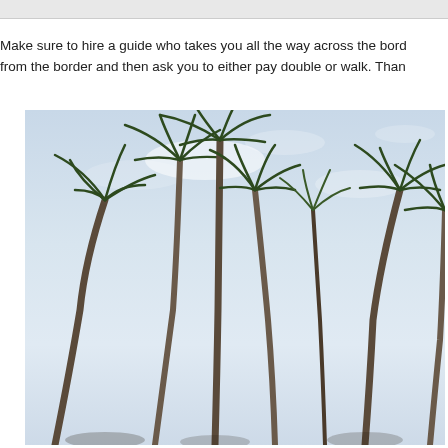Make sure to hire a guide who takes you all the way across the border and then ask you to either pay double or walk. Than
[Figure (photo): Photograph of tall coconut palm trees against a light blue partly cloudy sky, taken from a low angle looking upward.]